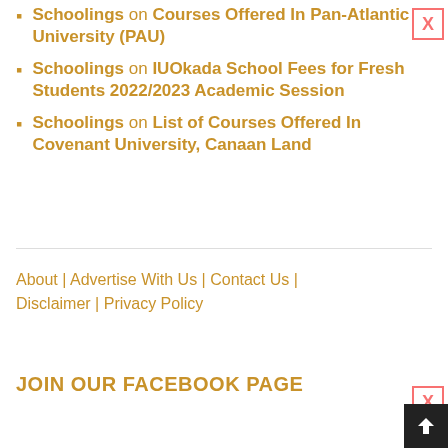Schoolings on Courses Offered In Pan-Atlantic University (PAU)
Schoolings on IUOkada School Fees for Fresh Students 2022/2023 Academic Session
Schoolings on List of Courses Offered In Covenant University, Canaan Land
About | Advertise With Us | Contact Us | Disclaimer | Privacy Policy
JOIN OUR FACEBOOK PAGE